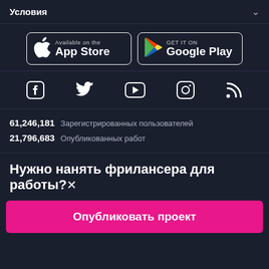Условия
[Figure (screenshot): App Store and Google Play download buttons]
[Figure (infographic): Social media icons: Facebook, Twitter, YouTube, Instagram, RSS]
61,246,181  Зарегистрированных пользователей
21,796,683  Опубликованных работ
Нужно нанять фрилансера для работы?✕
Опубликовать проект